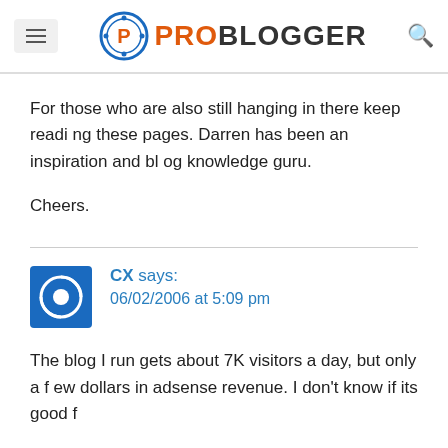PRO BLOGGER
For those who are also still hanging in there keep reading these pages. Darren has been an inspiration and blog knowledge guru.
Cheers.
CX says: 06/02/2006 at 5:09 pm
The blog I run gets about 7K visitors a day, but only a few dollars in adsense revenue. I don't know if its good f